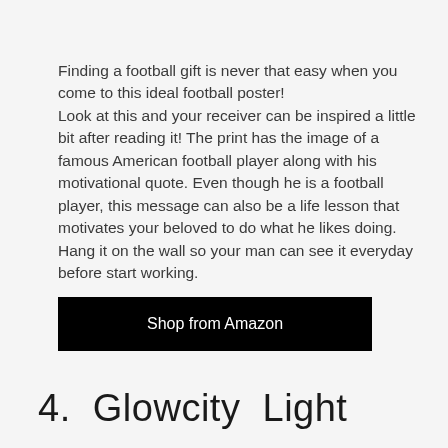Finding a football gift is never that easy when you come to this ideal football poster! Look at this and your receiver can be inspired a little bit after reading it! The print has the image of a famous American football player along with his motivational quote. Even though he is a football player, this message can also be a life lesson that motivates your beloved to do what he likes doing. Hang it on the wall so your man can see it everyday before start working.
Shop from Amazon
4.  Glowcity  Light